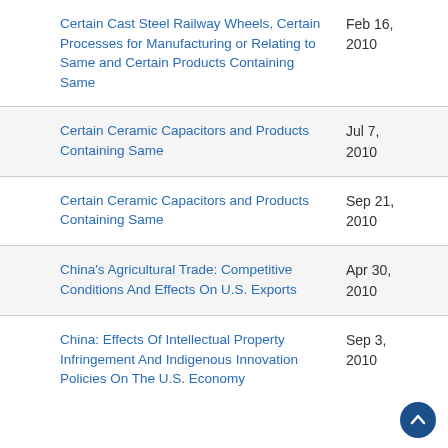Certain Cast Steel Railway Wheels, Certain Processes for Manufacturing or Relating to Same and Certain Products Containing Same | Feb 16, 2010
Certain Ceramic Capacitors and Products Containing Same | Jul 7, 2010
Certain Ceramic Capacitors and Products Containing Same | Sep 21, 2010
China's Agricultural Trade: Competitive Conditions And Effects On U.S. Exports | Apr 30, 2010
China: Effects Of Intellectual Property Infringement And Indigenous Innovation Policies On The U.S. Economy | Sep 3, 2010